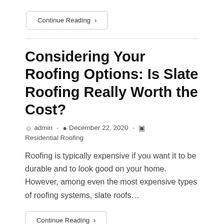Continue Reading ›
Considering Your Roofing Options: Is Slate Roofing Really Worth the Cost?
admin · December 22, 2020 · Residential Roofing
Roofing is typically expensive if you want it to be durable and to look good on your home. However, among even the most expensive types of roofing systems, slate roofs…
Continue Reading ›